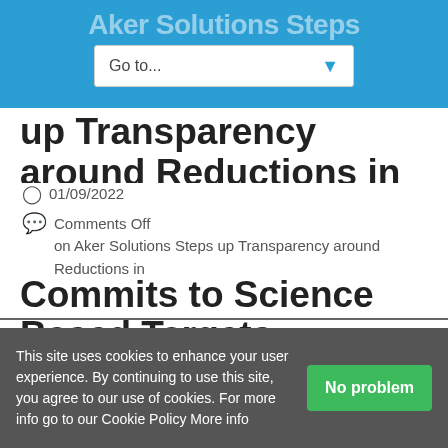Aker Solutions Steps up Transparency
up Transparency around Reductions in Greenhouse Gas Emissions and Commits to Science Based Targets Initiative
01/09/2022
Comments Off on Aker Solutions Steps up Transparency around Reductions in
This site uses cookies to enhance your user experience. By continuing to use this site, you agree to our use of cookies. For more info go to our Cookie Policy More info